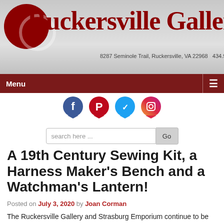[Figure (logo): Ruckersville Gallery logo with red circle and text, address: 8287 Seminole Trail, Ruckersville, VA 22968  434.985.1944]
Menu
[Figure (infographic): Social media icons: Facebook, Pinterest, Twitter, Instagram]
search here ...
A 19th Century Sewing Kit, a Harness Maker's Bench and a Watchman's Lantern!
Posted on July 3, 2020 by Joan Corman
The Ruckersville Gallery and Strasburg Emporium continue to be open for business!